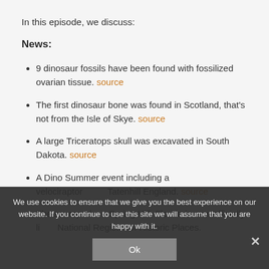In this episode, we discuss:
News:
9 dinosaur fossils have been found with fossilized ovarian tissue. source
The first dinosaur bone was found in Scotland, that's not from the Isle of Skye. source
A large Triceratops skull was excavated in South Dakota. source
A Dino Summer event including a velociraptor ... Tatenhill England. source
The sauropod ... Spring Hill, Florida is now officially li... National Register of Historic Places. source
We use cookies to ensure that we give you the best experience on our website. If you continue to use this site we will assume that you are happy with it.